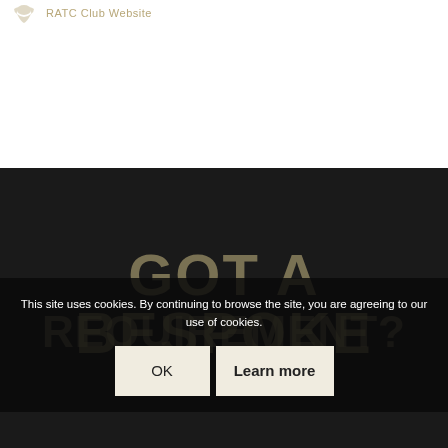RATC Club Website
GOT A BESPOKE REQUIREMENT?
This site uses cookies. By continuing to browse the site, you are agreeing to our use of cookies.
OK   Learn more